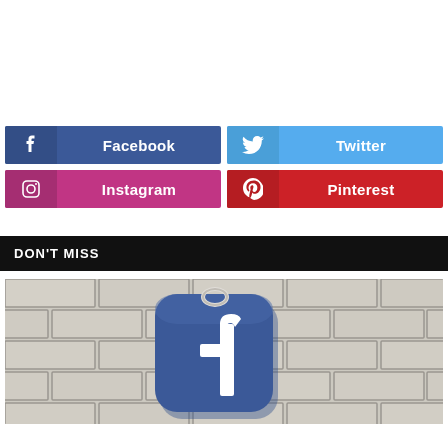[Figure (infographic): Four social media share buttons in a 2x2 grid: Facebook (blue), Twitter (light blue), Instagram (pink/magenta), Pinterest (red)]
DON'T MISS
[Figure (photo): Photo of a blue Facebook app icon as a keychain/key fob hanging against a white brick tile wall background]